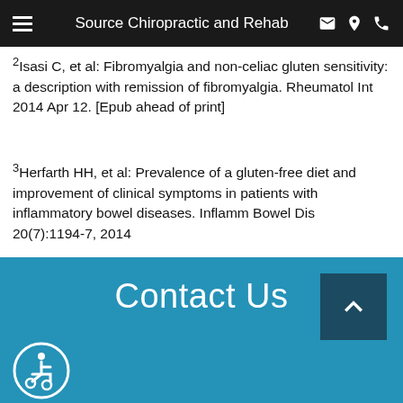Source Chiropractic and Rehab
2Isasi C, et al: Fibromyalgia and non-celiac gluten sensitivity: a description with remission of fibromyalgia. Rheumatol Int 2014 Apr 12. [Epub ahead of print]
3Herfarth HH, et al: Prevalence of a gluten-free diet and improvement of clinical symptoms in patients with inflammatory bowel diseases. Inflamm Bowel Dis 20(7):1194-7, 2014
Contact Us
[Figure (illustration): Wheelchair accessibility icon in a circular border]